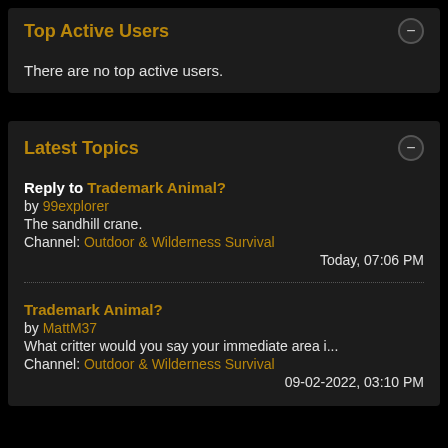Top Active Users
There are no top active users.
Latest Topics
Reply to Trademark Animal?
by 99explorer
The sandhill crane.
Channel: Outdoor & Wilderness Survival
Today, 07:06 PM
Trademark Animal?
by MattM37
What critter would you say your immediate area i...
Channel: Outdoor & Wilderness Survival
09-02-2022, 03:10 PM